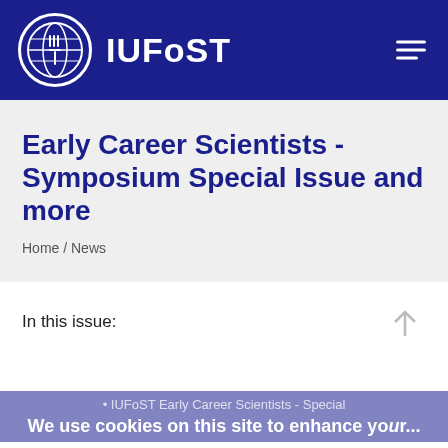IUFoST
Early Career Scientists - Symposium Special Issue and more
Home / News
In this issue:
IUFoST Early Career Scientists - Special
We use cookies on this site to enhance your...